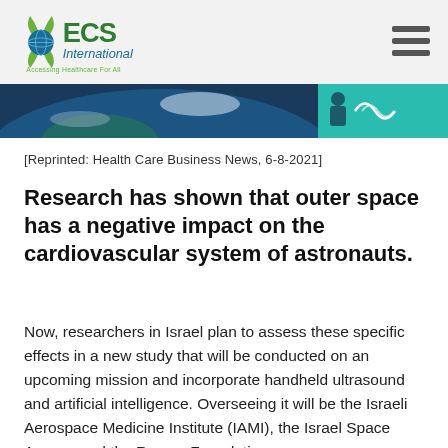[Figure (logo): ECS International logo with globe and leaf design, tagline 'Accessing Healthcare For All']
[Figure (photo): Banner image showing Earth from space on left side and teal/green medical imaging graphic on right side]
[Reprinted: Health Care Business News, 6-8-2021]
Research has shown that outer space has a negative impact on the cardiovascular system of astronauts.
Now, researchers in Israel plan to assess these specific effects in a new study that will be conducted on an upcoming mission and incorporate handheld ultrasound and artificial intelligence. Overseeing it will be the Israeli Aerospace Medicine Institute (IAMI), the Israel Space Agency and the Ramon Foundation.